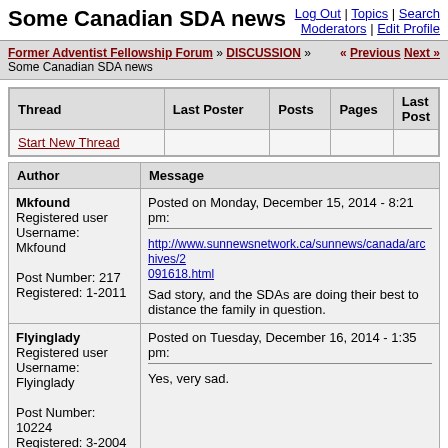Some Canadian SDA news
Log Out | Topics | Search
Moderators | Edit Profile
Former Adventist Fellowship Forum » DISCUSSION » Some Canadian SDA news « Previous Next »
| Thread | Last Poster | Posts | Pages | Last Post |
| --- | --- | --- | --- | --- |
| Start New Thread |  |  |  |  |
| Author | Message |
| --- | --- |
| Mkfound
Registered user
Username: Mkfound

Post Number: 217
Registered: 1-2011 | Posted on Monday, December 15, 2014 - 8:21 pm:
http://www.sunnewsnetwork.ca/sunnews/canada/archives/2..091618.html
Sad story, and the SDAs are doing their best to distance the family in question. |
| Flyinglady
Registered user
Username: Flyinglady

Post Number: 10224
Registered: 3-2004 | Posted on Tuesday, December 16, 2014 - 1:35 pm:
Yes, very sad. |